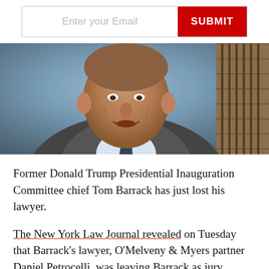[Figure (screenshot): Email subscription bar with text input 'Enter your Email' and red SUBMIT button]
[Figure (photo): Photo of Tom Barrack, an older man in a dark suit and tie, smiling, with a wooden panel background]
Former Donald Trump Presidential Inauguration Committee chief Tom Barrack has just lost his lawyer.
The New York Law Journal revealed on Tuesday that Barrack's lawyer, O'Melveny & Myers partner Daniel Petrocelli, was leaving Barrack as jury